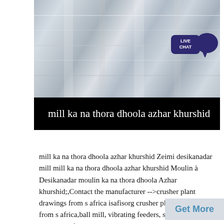[Figure (photo): Blurry industrial machinery or factory equipment photo in grayscale/light tones with a LIVE CHAT badge overlay in dark purple]
mill ka na thora dhoola azhar khurshid
mill ka na thora dhoola azhar khurshid Zeimi desikanadar mill mill ka na thora dhoola azhar khurshid Moulin à Desikanadar moulin ka na thora dhoola Azhar khurshid;,Contact the manufacturer -->crusher plant drawings from s africa isafisorg crusher plant drawings from s africa,ball mill, vibrating feeders, screens and equipment for washing sand Our product is ,
Get More